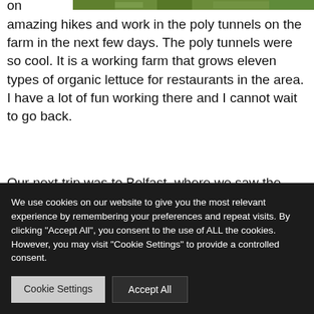[Figure (photo): Partial photo at top of page, appears to show greenery or outdoor nature scene]
amazing hikes and work in the poly tunnels on the farm in the next few days. The poly tunnels were so cool. It is a working farm that grows eleven types of organic lettuce for restaurants in the area. I have a lot of fun working there and I cannot wait to go back.
Our next trip was to Belfast, where we saw the Titanic museum and got to explore the city. I lea
[Figure (photo): Partial photo showing the Titanic museum building in Belfast with distinctive angular metallic facade]
We use cookies on our website to give you the most relevant experience by remembering your preferences and repeat visits. By clicking "Accept All", you consent to the use of ALL the cookies. However, you may visit "Cookie Settings" to provide a controlled consent.